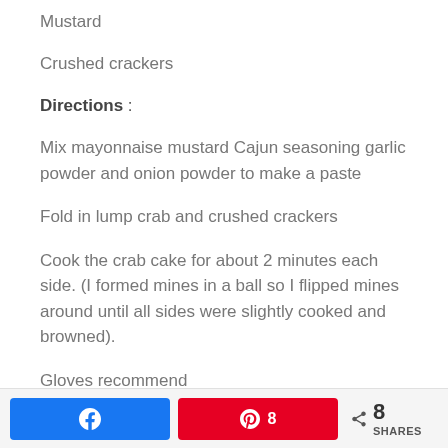Mustard
Crushed crackers
Directions :
Mix mayonnaise mustard Cajun seasoning garlic powder and onion powder to make a paste
Fold in lump crab and crushed crackers
Cook the crab cake for about 2 minutes each side. (I formed mines in a ball so I flipped mines around until all sides were slightly cooked and browned).
Gloves recommend
Facebook share | Pinterest 8 | 8 SHARES